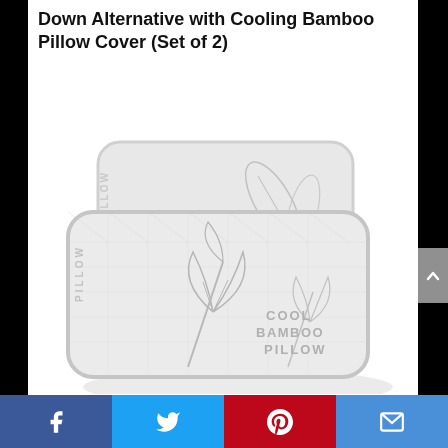Down Alternative with Cooling Bamboo Pillow Cover (Set of 2)
[Figure (photo): Product photo showing two rectangular pillows with bamboo-patterned covers. The covers are white/light gray with a textured fabric featuring bamboo leaf prints and the text 'COOL BAMBOO PILLOW' embroidered on the front pillow. Both pillows are stacked at a slight offset angle.]
[Figure (infographic): Social media sharing bar at the bottom with four buttons: Facebook (blue), Twitter (light blue), Pinterest (red), and Email (blue), each with their respective icons in white.]